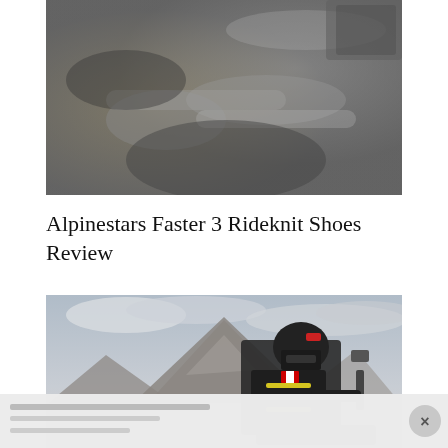[Figure (photo): Close-up photo of motorcycle exhaust pipes and mechanical components, showing metallic pipes and engine parts in grayscale tones]
Alpinestars Faster 3 Rideknit Shoes Review
[Figure (photo): Motorcyclist in black riding gear with Canadian flag patch and yellow accents on jacket, wearing a black helmet with red details, sitting on a motorcycle in front of a large rocky mountain landscape under cloudy skies]
[Figure (photo): Partially visible advertisement overlay at bottom of page with a close button (x) in the bottom right corner]